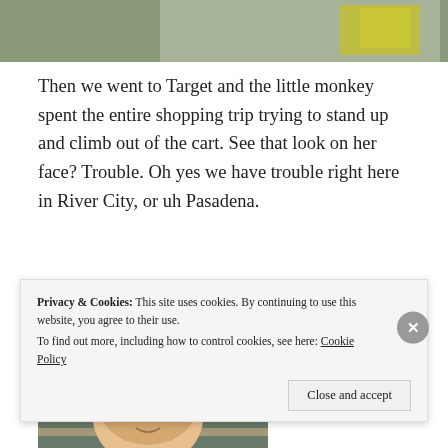[Figure (photo): Top portion of a photo showing outdoor scene with yellow clothing/gear visible]
Then we went to Target and the little monkey spent the entire shopping trip trying to stand up and climb out of the cart. See that look on her face? Trouble. Oh yes we have trouble right here in River City, or uh Pasadena.
[Figure (photo): Photo of a young toddler with reddish-blonde hair in a store aisle with cleaning products on shelves in the background]
Anyways, I thought I'd have one more
Privacy & Cookies: This site uses cookies. By continuing to use this website, you agree to their use.
To find out more, including how to control cookies, see here: Cookie Policy
Close and accept